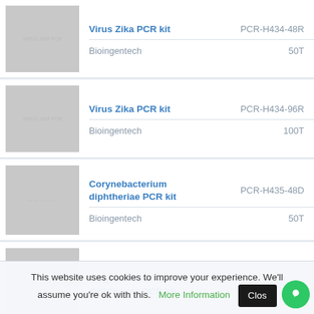| Image | Product Name | SKU | Brand | Qty |
| --- | --- | --- | --- | --- |
| [img] | Virus Zika PCR kit | PCR-H434-48R | Bioingentech | 50T |
| [img] | Virus Zika PCR kit | PCR-H434-96R | Bioingentech | 100T |
| [img] | Corynebacterium diphtheriae PCR kit | PCR-H435-48D | Bioingentech | 50T |
| [img] | Corynebacterium diphtheriae PCR kit | PCR-H435-96D | Bioingentech |  |
This website uses cookies to improve your experience. We'll assume you're ok with this.  More Information  Close